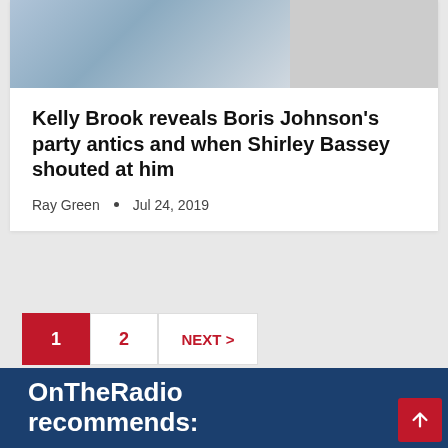[Figure (photo): Partial photo of a person at a radio studio desk, cut off at top]
Kelly Brook reveals Boris Johnson's party antics and when Shirley Bassey shouted at him
Ray Green • Jul 24, 2019
1  2  NEXT >
OnTheRadio recommends:
Today: A Little Flat: The Music Our Ears Overlook – Musician, DJ...